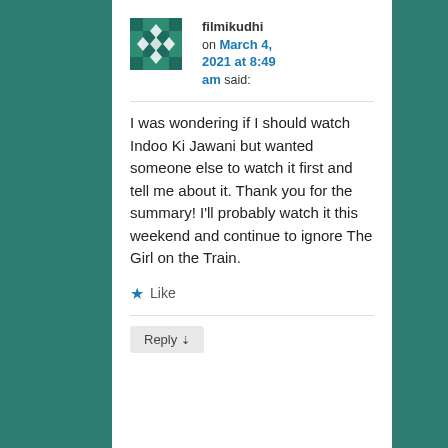filmikudhi on March 4, 2021 at 8:49 am said:
I was wondering if I should watch Indoo Ki Jawani but wanted someone else to watch it first and tell me about it. Thank you for the summary! I'll probably watch it this weekend and continue to ignore The Girl on the Train.
★ Like
Reply ↓